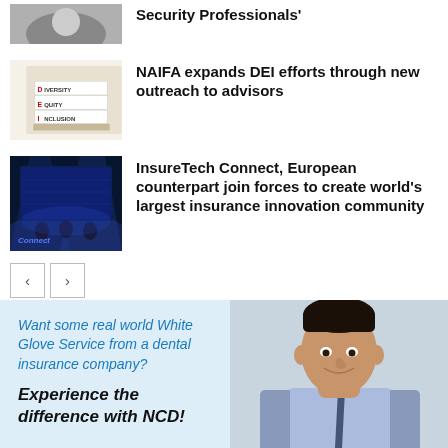[Figure (photo): Partial thumbnail image at top, cropped]
Security Professionals'
[Figure (photo): Stack of books labeled Diversity, Equity, Inclusion on a desk]
NAIFA expands DEI efforts through new outreach to advisors
[Figure (photo): InsureTech Connect stage with blue lighting and panelists]
InsureTech Connect, European counterpart join forces to create world's largest insurance innovation community
[Figure (infographic): Advertisement for NCD dental insurance company with photo of smiling businessman. Text: Want some real world White Glove Service from a dental insurance company? Experience the difference with NCD!]